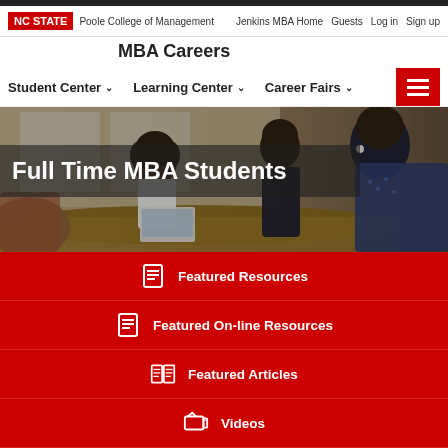NC STATE | Poole College of Management | Jenkins MBA Home | Guests | Log in | Sign up
MBA Careers
Student Center   Learning Center   Career Fairs
[Figure (photo): Group of MBA students seated around a conference table with laptops, engaged in discussion. Text overlay reads 'Full Time MBA Students'.]
Featured Resources
Featured On-line Resources
Featured Articles
Videos
Explore Career Options